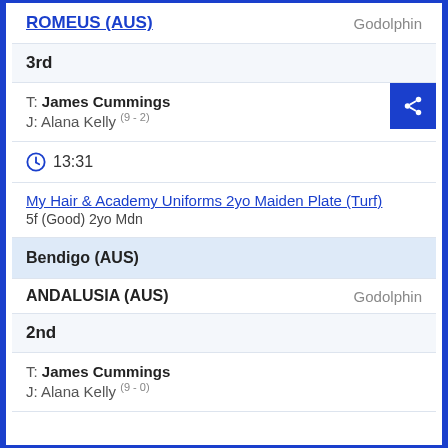ROMEUS (AUS) — Godolphin
3rd
T: James Cummings
J: Alana Kelly (9 - 2)
13:31
My Hair & Academy Uniforms 2yo Maiden Plate (Turf)
5f (Good) 2yo Mdn
Bendigo (AUS)
ANDALUSIA (AUS) — Godolphin
2nd
T: James Cummings
J: Alana Kelly (9 - 0)